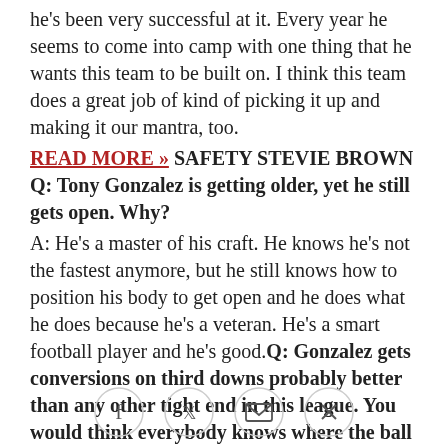he's been very successful at it. Every year he seems to come into camp with one thing that he wants this team to be built on. I think this team does a great job of kind of picking it up and making it our mantra, too.
READ MORE >> SAFETY STEVIE BROWN Q: Tony Gonzalez is getting older, yet he still gets open. Why?
A: He's a master of his craft. He knows he's not the fastest anymore, but he still knows how to position his body to get open and he does what he does because he's a veteran. He's a smart football player and he's good. Q: Gonzalez gets conversions on third downs probably better than any other tight end in this league. You would think everybody knows where the ball is going and you can stop it.
A: That's another thing that benefits him with him being
[Figure (infographic): Social share icons: Facebook, Twitter, Email, Link]